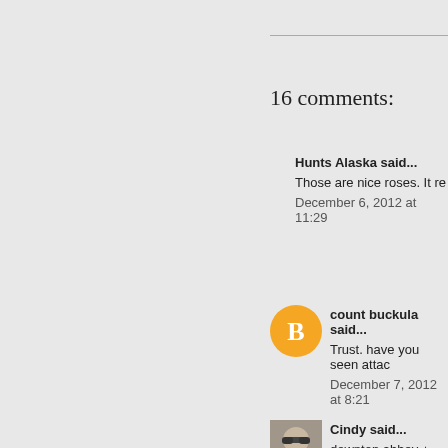16 comments:
Hunts Alaska said...
Those are nice roses. It re
December 6, 2012 at 11:29
count buckula said...
Trust. have you seen attac
December 7, 2012 at 8:21
Cindy said...
downton abbey + homelan
http://t.co/5FVYmnUD
we still have roses in our n
December 7, 2012 at 8:49